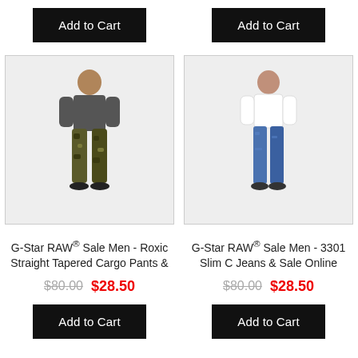[Figure (other): Black 'Add to Cart' button, top left product]
[Figure (other): Black 'Add to Cart' button, top right product]
[Figure (photo): G-Star RAW Roxic Straight Tapered Cargo Pants - man wearing camo cargo pants]
[Figure (photo): G-Star RAW 3301 Slim Cut Jeans - man wearing blue slim jeans]
G-Star RAW® Sale Men - Roxic Straight Tapered Cargo Pants &
G-Star RAW® Sale Men - 3301 Slim C Jeans & Sale Online
$80.00  $28.50
$80.00  $28.50
[Figure (other): Black 'Add to Cart' button, bottom left product]
[Figure (other): Black 'Add to Cart' button, bottom right product]